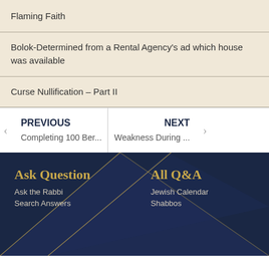Flaming Faith
Bolok-Determined from a Rental Agency's ad which house was available
Curse Nullification – Part II
PREVIOUS
Completing 100 Ber...
NEXT
Weakness During ...
Ask Question
Ask the Rabbi
Search Answers
All Q&A
Jewish Calendar
Shabbos